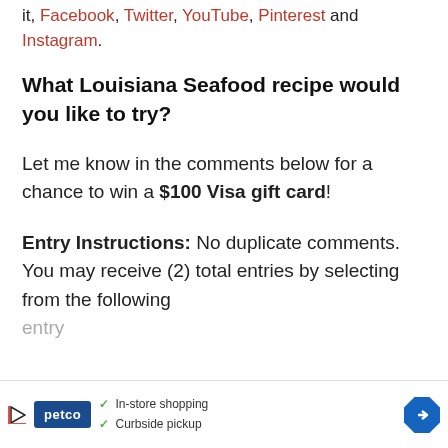it, Facebook, Twitter, YouTube, Pinterest and Instagram.
What Louisiana Seafood recipe would you like to try?
Let me know in the comments below for a chance to win a $100 Visa gift card!
Entry Instructions: No duplicate comments. You may receive (2) total entries by selecting from the following entry
[Figure (infographic): Petco advertisement banner showing: play button icon, Petco logo (blue box), checkmarks for 'In-store shopping' and 'Curbside pickup', and a blue diamond navigation arrow icon.]